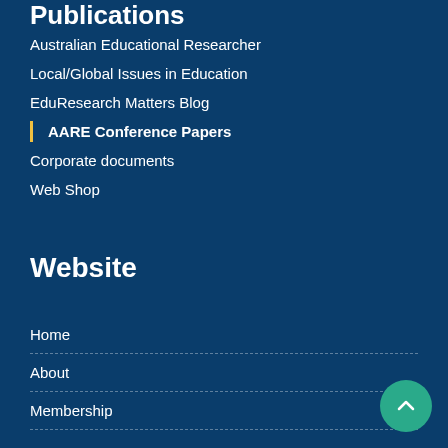Publications
Australian Educational Researcher
Local/Global Issues in Education
EduResearch Matters Blog
AARE Conference Papers
Corporate documents
Web Shop
Website
Home
About
Membership